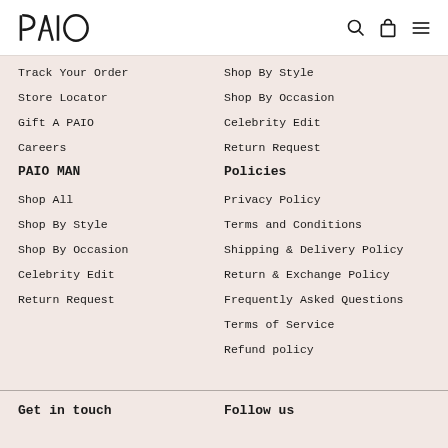PAIO logo with search, bag, and menu icons
Track Your Order
Shop By Style
Store Locator
Shop By Occasion
Gift A PAIO
Celebrity Edit
Careers
Return Request
PAIO MAN
Policies
Shop All
Privacy Policy
Shop By Style
Terms and Conditions
Shop By Occasion
Shipping & Delivery Policy
Celebrity Edit
Return & Exchange Policy
Return Request
Frequently Asked Questions
Terms of Service
Refund policy
Get in touch   Follow us